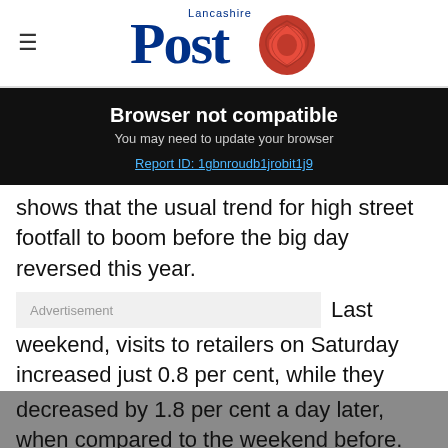Lancashire Post
Browser not compatible
You may need to update your browser
Report ID: 1gbnroudb1jrobit1j9
shows that the usual trend for high street footfall to boom before the big day reversed this year.
Advertisement  Last weekend, visits to retailers on Saturday increased just 0.8 per cent, while they decreased by 1.8 per cent a day later, when compared to the weekend before.